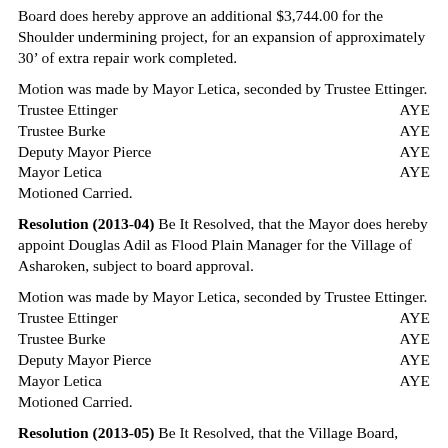Board does hereby approve an additional $3,744.00 for the Shoulder undermining project, for an expansion of approximately 30’ of extra repair work completed.
Motion was made by Mayor Letica, seconded by Trustee Ettinger.
Trustee Ettinger   AYE
Trustee Burke   AYE
Deputy Mayor Pierce   AYE
Mayor Letica   AYE
Motioned Carried.
Resolution (2013-04) Be It Resolved, that the Mayor does hereby appoint Douglas Adil as Flood Plain Manager for the Village of Asharoken, subject to board approval.
Motion was made by Mayor Letica, seconded by Trustee Ettinger.
Trustee Ettinger   AYE
Trustee Burke   AYE
Deputy Mayor Pierce   AYE
Mayor Letica   AYE
Motioned Carried.
Resolution (2013-05) Be It Resolved, that the Village Board, does hereby accept the donation from the “Asharoken Building Fundraising Committee” in